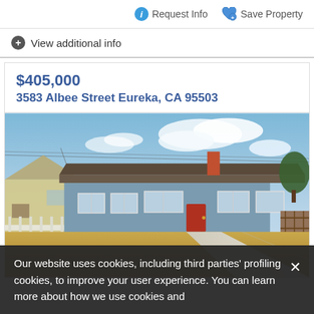Request Info
Save Property
View additional info
$405,000
3583 Albee Street Eureka, CA 95503
[Figure (photo): Exterior photo of a single-story blue/grey ranch house with red front door, brown front lawn, concrete driveway, and wooden fence on the right side. Overhead power lines and cloudy blue sky visible.]
Our website uses cookies, including third parties' profiling cookies, to improve your user experience. You can learn more about how we use cookies and